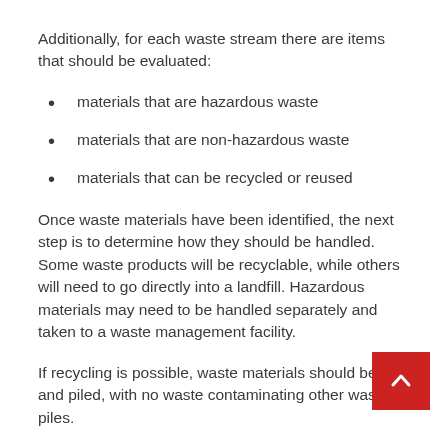Additionally, for each waste stream there are items that should be evaluated:
materials that are hazardous waste
materials that are non-hazardous waste
materials that can be recycled or reused
Once waste materials have been identified, the next step is to determine how they should be handled. Some waste products will be recyclable, while others will need to go directly into a landfill. Hazardous materials may need to be handled separately and taken to a waste management facility.
If recycling is possible, waste materials should be so and piled, with no waste contaminating other waste piles.
The waste management company chosen for the project